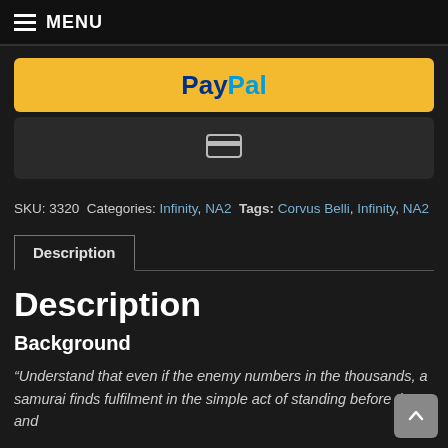MENU
[Figure (other): PayPal checkout button with yellow background and PayPal logo]
[Figure (other): Credit/debit card checkout button with credit card icon on dark background]
SKU: 3320 Categories: Infinity, NA2 Tags: Corvus Belli, Infinity, NA2
Description
Description
Background
“Understand that even if the enemy numbers in the thousands, a samurai finds fulfilment in the simple act of standing before them and